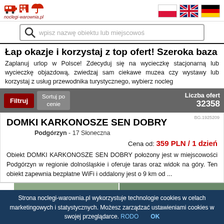noclegi-warownia.pl
wpisz nazwę obiektu lub miejscowość
Łap okazje i korzystaj z top ofert! Szeroka baza
Zaplanuj urlop w Polsce! Zdecyduj się na wycieczkę stacjonarną lub wycieczkę objazdową, zwiedzaj sam ciekawe muzea czy wystawy lub korzystaj z usług przewodnika turystycznego, wybierz nocleg
Filtruj   Sortuj po cenie   Liczba ofert 32358
DOMKI KARKONOSZE SEN DOBRY
Podgórzyn - 17 Słoneczna
Cena od: 359 PLN / 1 dzień
Obiekt DOMKI KARKONOSZE SEN DOBRY położony jest w miejscowości Podgórzyn w regionie dolnośląskie i oferuje taras oraz widok na góry. Ten obiekt zapewnia bezpłatne WiFi i oddalony jest o 9 km od ...
BG.1925209
Strona noclegi-warownia.pl wykorzystuje technologie cookies w celach marketingowych i statystycznych. Możesz zarządzać ustawieniami cookies w swojej przeglądarce. RODO  OK